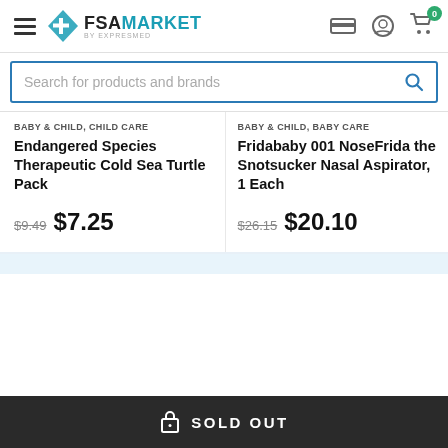FSA MARKET by EXPRESMED — navigation header with hamburger menu, card icon, account icon, cart (0)
Search for products and brands
BABY & CHILD, CHILD CARE
Endangered Species Therapeutic Cold Sea Turtle Pack
$9.49  $7.25
BABY & CHILD, BABY CARE
Fridababy 001 NoseFrida the Snotsucker Nasal Aspirator, 1 Each
$26.15  $20.10
SOLD OUT